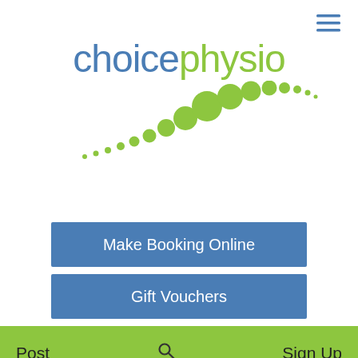[Figure (logo): choicephysio logo with blue 'choice' text, green 'physio' text, and a curved arc of green dots of varying sizes suggesting a spine]
Make Booking Online
Gift Vouchers
Post
Sign Up
All Posts
Helen
Oct 8, 2019 · 2 min